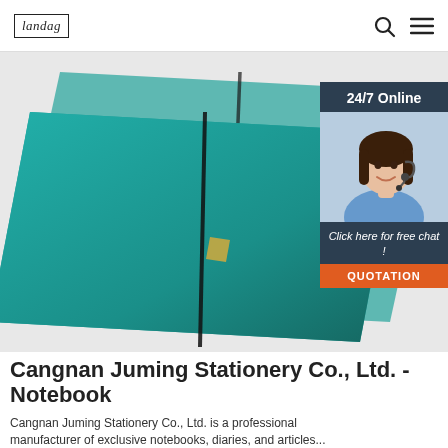landag [logo] | search icon | menu icon
[Figure (photo): Product photo of teal/green leather-bound notebooks with elastic band closure and gold corner detail, shown from above. Overlaid with a '24/7 Online' chat widget featuring a customer service representative photo, 'Click here for free chat!' text, and an orange 'QUOTATION' button.]
Cangnan Juming Stationery Co., Ltd. - Notebook
Cangnan Juming Stationery Co., Ltd. is a professional manufacturer of exclusive notebooks, diaries, notebooks, and articles...